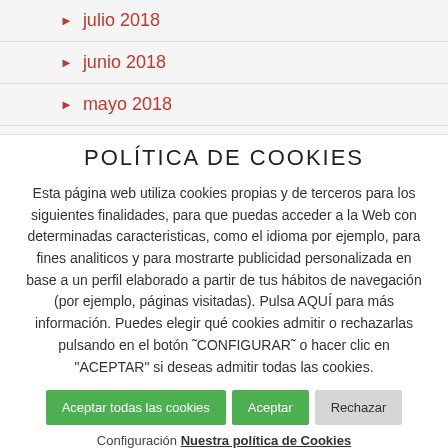julio 2018
junio 2018
mayo 2018
POLÍTICA DE COOKIES
Esta página web utiliza cookies propias y de terceros para los siguientes finalidades, para que puedas acceder a la Web con determinadas caracteristicas, como el idioma por ejemplo, para fines analiticos y para mostrarte publicidad personalizada en base a un perfil elaborado a partir de tus hábitos de navegación (por ejemplo, páginas visitadas). Pulsa AQUÍ para más información. Puedes elegir qué cookies admitir o rechazarlas pulsando en el botón ˜CONFIGURAR˜ o hacer clic en "ACEPTAR" si deseas admitir todas las cookies.
Aceptar todas las cookies | Aceptar | Rechazar
Configuración Nuestra política de Cookies